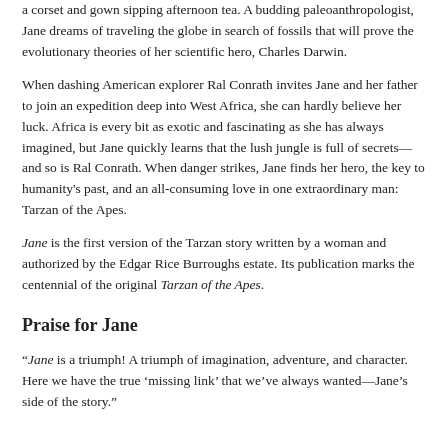a corset and gown sipping afternoon tea. A budding paleoanthropologist, Jane dreams of traveling the globe in search of fossils that will prove the evolutionary theories of her scientific hero, Charles Darwin.
When dashing American explorer Ral Conrath invites Jane and her father to join an expedition deep into West Africa, she can hardly believe her luck. Africa is every bit as exotic and fascinating as she has always imagined, but Jane quickly learns that the lush jungle is full of secrets—and so is Ral Conrath. When danger strikes, Jane finds her hero, the key to humanity's past, and an all-consuming love in one extraordinary man: Tarzan of the Apes.
Jane is the first version of the Tarzan story written by a woman and authorized by the Edgar Rice Burroughs estate. Its publication marks the centennial of the original Tarzan of the Apes.
Praise for Jane
“Jane is a triumph! A triumph of imagination, adventure, and character. Here we have the true ‘missing link’ that we’ve always wanted—Jane’s side of the story.”